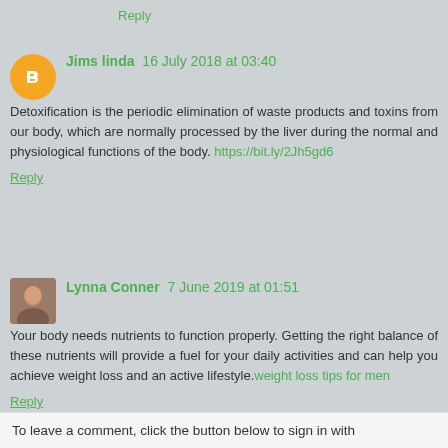Reply
Jims linda 16 July 2018 at 03:40
Detoxification is the periodic elimination of waste products and toxins from our body, which are normally processed by the liver during the normal and physiological functions of the body. https://bit.ly/2Jh5gd6
Reply
Lynna Conner 7 June 2019 at 01:51
Your body needs nutrients to function properly. Getting the right balance of these nutrients will provide a fuel for your daily activities and can help you achieve weight loss and an active lifestyle.weight loss tips for men
Reply
To leave a comment, click the button below to sign in with